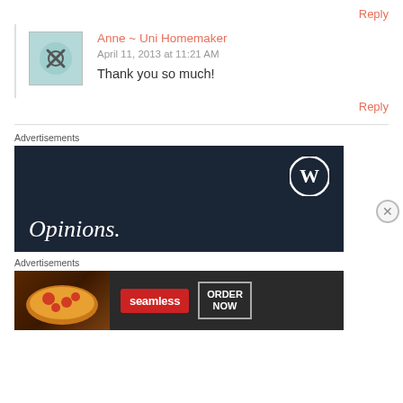Reply
Anne ~ Uni Homemaker
April 11, 2013 at 11:21 AM
Thank you so much!
Reply
Advertisements
[Figure (screenshot): WordPress advertisement banner with dark navy background showing WordPress logo and the word 'Opinions.' in white serif italic font]
Advertisements
[Figure (screenshot): Seamless food ordering advertisement showing pizza image, Seamless red logo, and ORDER NOW button]